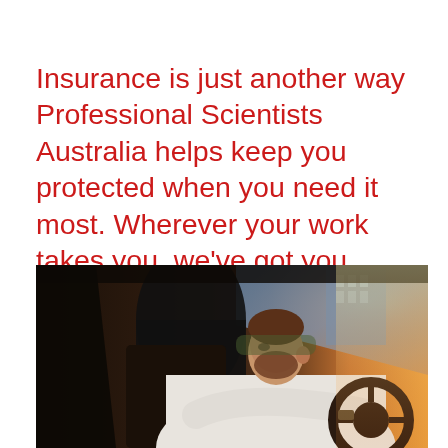Insurance is just another way Professional Scientists Australia helps keep you protected when you need it most. Wherever your work takes you, we've got you covered.
[Figure (photo): A man in a white dress shirt sitting in a car, hands on the steering wheel, looking forward. Warm sunlight streams through the windshield from the right. A car seat headrest is visible behind him and a building exterior is visible through the window.]